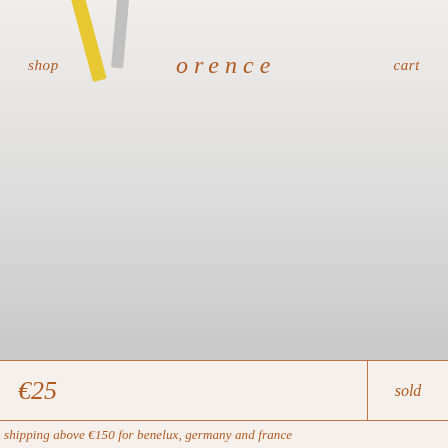[Figure (photo): Product photo area showing a light gray gradient background with yellow and gray pencil or stick-like objects partially visible at the top. Navigation bar overlaid with 'shop', 'orence' brand name, and 'cart' links in terra cotta/brown serif italic font.]
shop   orence   cart
€25
sold
shipping above €150 for benelux, germany and france